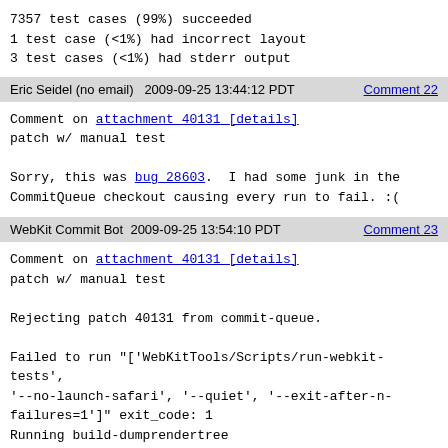7357 test cases (99%) succeeded
1 test case (<1%) had incorrect layout
3 test cases (<1%) had stderr output
Eric Seidel (no email)   2009-09-25 13:44:12 PDT      Comment 22
Comment on attachment 40131 [details]
patch w/ manual test

Sorry, this was bug 28603.  I had some junk in the
CommitQueue checkout causing every run to fail. :(
WebKit Commit Bot   2009-09-25 13:54:10 PDT       Comment 23
Comment on attachment 40131 [details]
patch w/ manual test

Rejecting patch 40131 from commit-queue.

Failed to run "['WebKitTools/Scripts/run-webkit-tests',
'--no-launch-safari', '--quiet', '--exit-after-n-
failures=1']" exit_code: 1
Running build-dumprendertree
Running tests from
/Users/eseidel/Projects/CommitQueue/LayoutTests
Testing 11334 test cases.
fast/media/mq-transform-02.html -> failed